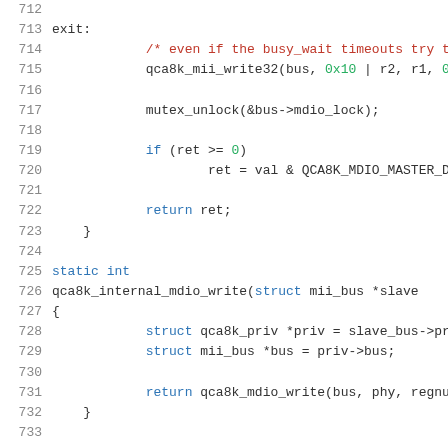[Figure (screenshot): Source code listing showing C code for qca8k internal MDIO functions, lines 712-733, with syntax highlighting. Shows exit label, qca8k_mii_write32 call, mutex_unlock, conditional return of val, return ret, closing brace, static int declaration, qca8k_internal_mdio_write function signature, struct declarations, and return statement.]